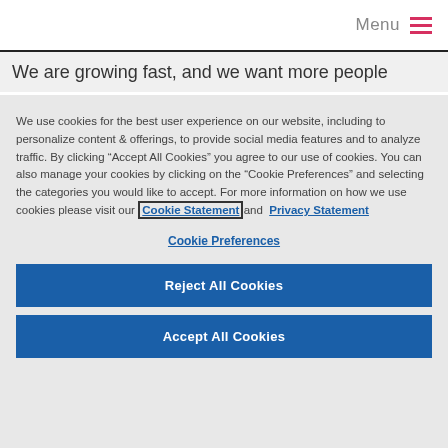Menu
We are growing fast, and we want more people
We use cookies for the best user experience on our website, including to personalize content & offerings, to provide social media features and to analyze traffic. By clicking “Accept All Cookies” you agree to our use of cookies. You can also manage your cookies by clicking on the “Cookie Preferences” and selecting the categories you would like to accept. For more information on how we use cookies please visit our Cookie Statement and Privacy Statement
Cookie Preferences
Reject All Cookies
Accept All Cookies